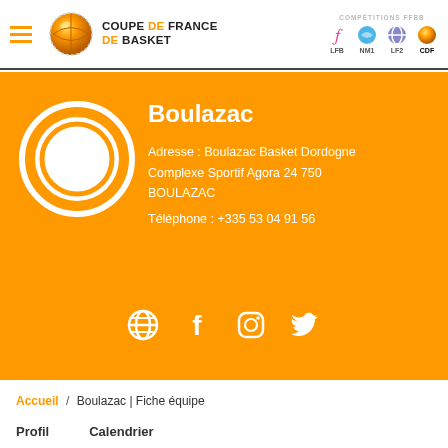COUPE DE FRANCE DE BASKET — COMPÉTITIONS FFBB: LFB, NM1, LF2, CDF
[Figure (logo): Coupe de France de Basket logo with basketball globe and text]
Boulazac
Adresse : Boulazac Basket Dordogne Complexe Sportif Agora 24 750 BOULAZAC
Téléphone : +335 53 04 91 56
[Figure (illustration): Social media icons: globe/website, Facebook, Instagram, Twitter]
Accueil / Boulazac | Fiche équipe
Profil   Calendrier